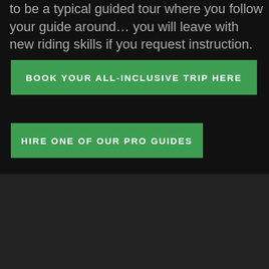to be a typical guided tour where you follow your guide around… you will leave with new riding skills if you request instruction.
BOOK YOUR ALL-INCLUSIVE TRIP HERE
HIRE ONE OF OUR PRO GUIDES
SNOWMOBILE RENTALS